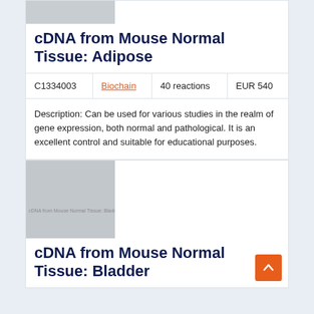[Figure (photo): Grey placeholder image for cDNA from Mouse Normal Tissue: Adipose product]
cDNA from Mouse Normal Tissue: Adipose
| C1334003 | Biochain | 40 reactions | EUR 540 |
| --- | --- | --- | --- |
Description: Can be used for various studies in the realm of gene expression, both normal and pathological. It is an excellent control and suitable for educational purposes.
[Figure (photo): Grey placeholder image for cDNA from Mouse Normal Tissue: Bladder product]
cDNA from Mouse Normal Tissue: Bladder